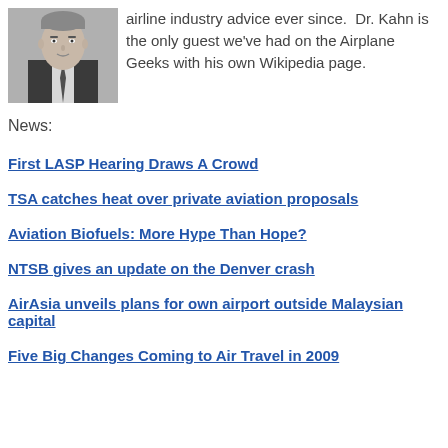[Figure (photo): Black and white portrait photo of a man in a suit and tie]
airline industry advice ever since.  Dr. Kahn is the only guest we've had on the Airplane Geeks with his own Wikipedia page.
News:
First LASP Hearing Draws A Crowd
TSA catches heat over private aviation proposals
Aviation Biofuels: More Hype Than Hope?
NTSB gives an update on the Denver crash
AirAsia unveils plans for own airport outside Malaysian capital
Five Big Changes Coming to Air Travel in 2009